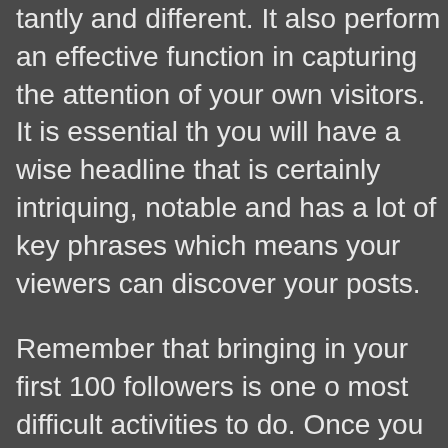tantly and different. It also perform an effective function in capturing the attention of your own visitors. It is essential that you will have a wise headline that is certainly intriquing, notable and has a lot of key phrases which means your viewers can discover your posts.
Remember that bringing in your first 100 followers is one of most difficult activities to do. Once you accomplish this, you see that you will find a much easier time. Be patient, since will not take place right away. Always keep making an effort and you will get there soon enough.
Consider generating your blog's main page a bit various. Rather than set of the latest posts that is the universal default for the blog's home page, you can test putting together something a little bit more memorable. Doing this, you'll be prone to be listed with the key search engines like yahoo.
Now that you know some of the things that you can do with writing a blog, you're better equipped to achieve any goals